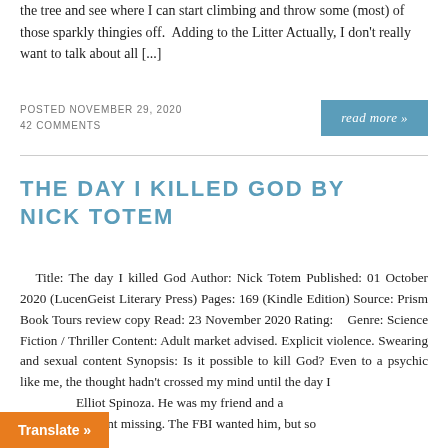the tree and see where I can start climbing and throw some (most) of those sparkly thingies off.  Adding to the Litter Actually, I don't really want to talk about all [...]
POSTED NOVEMBER 29, 2020
42 COMMENTS
read more »
THE DAY I KILLED GOD BY NICK TOTEM
Title: The day I killed God Author: Nick Totem Published: 01 October 2020 (LucenGeist Literary Press) Pages: 169 (Kindle Edition) Source: Prism Book Tours review copy Read: 23 November 2020 Rating:   Genre: Science Fiction / Thriller Content: Adult market advised. Explicit violence. Swearing and sexual content Synopsis: Is it possible to kill God? Even to a psychic like me, the thought hadn't crossed my mind until the day I [...]  Elliot Spinoza. He was my friend and a [...] he went missing. The FBI wanted him, but so
Translate »